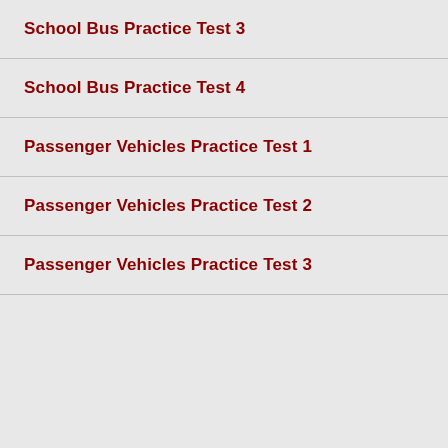School Bus Practice Test 3
School Bus Practice Test 4
Passenger Vehicles Practice Test 1
Passenger Vehicles Practice Test 2
Passenger Vehicles Practice Test 3